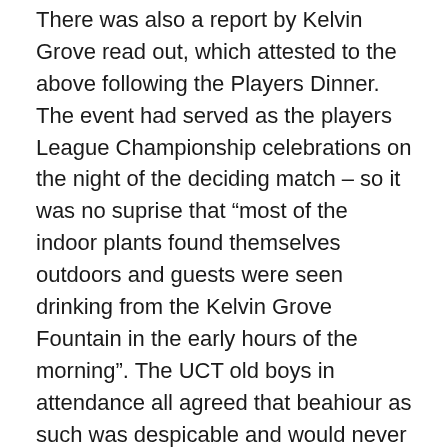There was also a report by Kelvin Grove read out, which attested to the above following the Players Dinner. The event had served as the players League Championship celebrations on the night of the deciding match – so it was no suprise that “most of the indoor plants found themselves outdoors and guests were seen drinking from the Kelvin Grove Fountain in the early hours of the morning”. The UCT old boys in attendance all agreed that beahiour as such was despicable and would never have happened in their playing days.
Dr Max Price again congratulated the club and all its members and supporters and